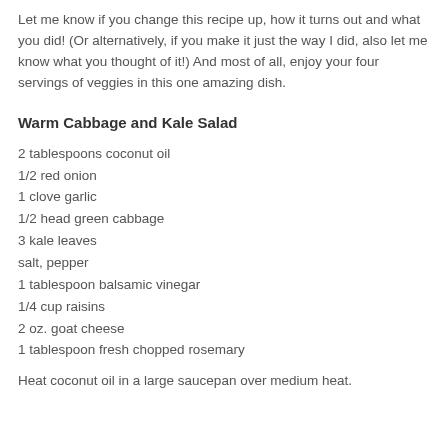Let me know if you change this recipe up, how it turns out and what you did! (Or alternatively, if you make it just the way I did, also let me know what you thought of it!) And most of all, enjoy your four servings of veggies in this one amazing dish.
Warm Cabbage and Kale Salad
2 tablespoons coconut oil
1/2 red onion
1 clove garlic
1/2 head green cabbage
3 kale leaves
salt, pepper
1 tablespoon balsamic vinegar
1/4 cup raisins
2 oz. goat cheese
1 tablespoon fresh chopped rosemary
Heat coconut oil in a large saucepan over medium heat.